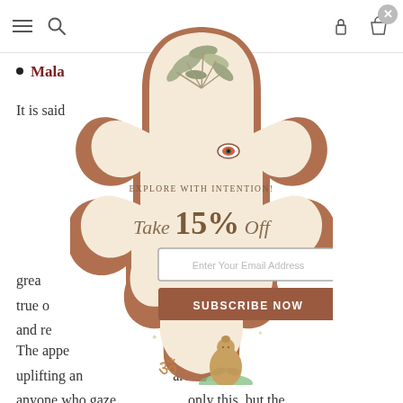Navigation bar with hamburger menu, search, gift and bag icons
Mala ... rties
It is said ... ing,
[Figure (infographic): Hamsa hand shaped popup overlay with botanical illustrations, evil eye, Buddha figure, Om symbol. Contains promotional offer: EXPLORE WITH INTENTION! Take 15% Off. Email input field and SUBSCRIBE NOW button.]
grea ... e is true o ... ngs, and re...
The appe ... ghly uplifting an ... arer or anyone who gaze... only this, but the